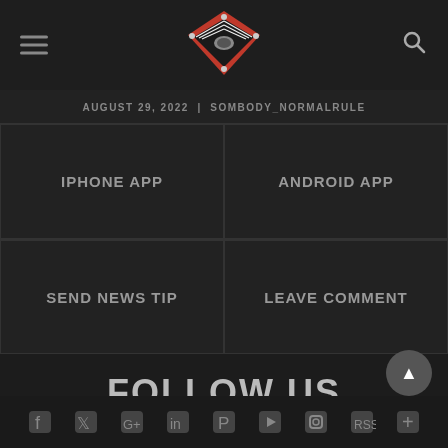[Figure (logo): Wrestling ring logo - red and black boxing/wrestling ring with ropes, diamond shape, viewed from above]
AUGUST 29, 2022 | SOMBODY_NORMALRULE
IPHONE APP
ANDROID APP
SEND NEWS TIP
LEAVE COMMENT
FOLLOW US
TO STAY CONNECTED WITH OUR UPDATES
[Figure (infographic): Social media icons row: Facebook, Twitter, Google+, LinkedIn, Pinterest, YouTube, Instagram, RSS, plus]